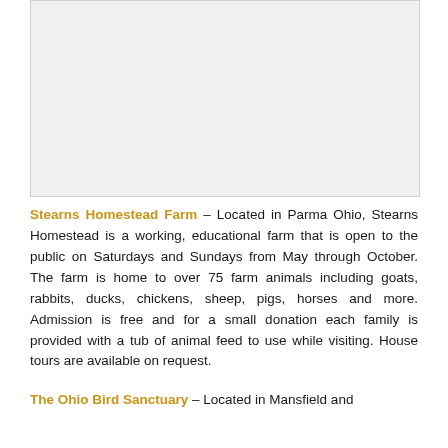[Figure (photo): Image placeholder area, light gray background]
Stearns Homestead Farm – Located in Parma Ohio, Stearns Homestead is a working, educational farm that is open to the public on Saturdays and Sundays from May through October. The farm is home to over 75 farm animals including goats, rabbits, ducks, chickens, sheep, pigs, horses and more. Admission is free and for a small donation each family is provided with a tub of animal feed to use while visiting. House tours are available on request.
The Ohio Bird Sanctuary – Located in Mansfield and